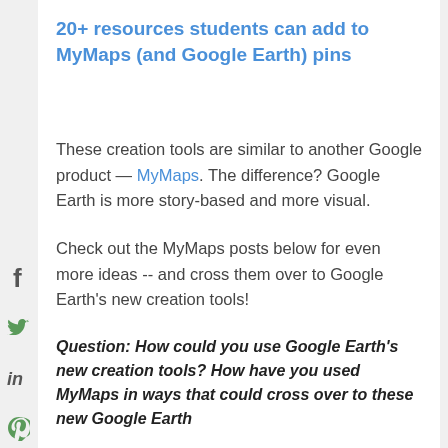20+ resources students can add to MyMaps (and Google Earth) pins
These creation tools are similar to another Google product — MyMaps. The difference? Google Earth is more story-based and more visual.
Check out the MyMaps posts below for even more ideas -- and cross them over to Google Earth's new creation tools!
Question: How could you use Google Earth's new creation tools? How have you used MyMaps in ways that could cross over to these new Google Earth